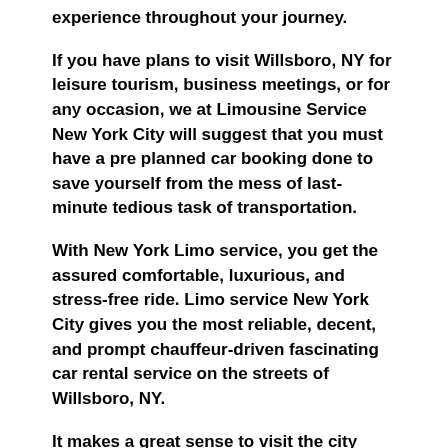experience throughout your journey.
If you have plans to visit Willsboro, NY for leisure tourism, business meetings, or for any occasion, we at Limousine Service New York City will suggest that you must have a pre planned car booking done to save yourself from the mess of last-minute tedious task of transportation.
With New York Limo service, you get the assured comfortable, luxurious, and stress-free ride. Limo service New York City gives you the most reliable, decent, and prompt chauffeur-driven fascinating car rental service on the streets of Willsboro, NY.
It makes a great sense to visit the city most